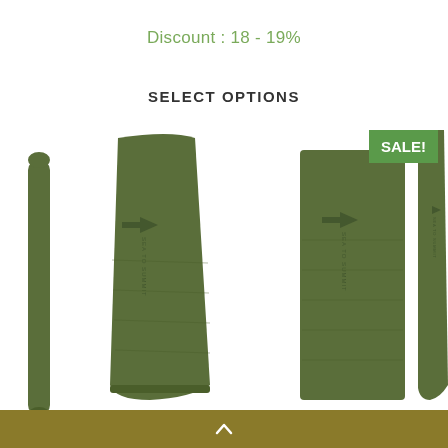Discount : 18 - 19%
SELECT OPTIONS
[Figure (photo): Four Sea to Summit sleeping mats/pads displayed upright in olive/dark green color. Three full-length mummy-shaped pads and one rectangular pad shown side by side. A green SALE! badge is shown in the upper right area of the image.]
^